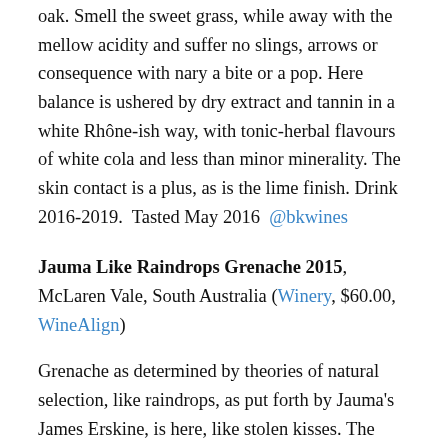oak. Smell the sweet grass, while away with the mellow acidity and suffer no slings, arrows or consequence with nary a bite or a pop. Here balance is ushered by dry extract and tannin in a white Rhône-ish way, with tonic-herbal flavours of white cola and less than minor minerality. The skin contact is a plus, as is the lime finish. Drink 2016-2019.  Tasted May 2016  @bkwines
Jauma Like Raindrops Grenache 2015, McLaren Vale, South Australia (Winery, $60.00, WineAlign)
Grenache as determined by theories of natural selection, like raindrops, as put forth by Jauma's James Erskine, is here, like stolen kisses. The basic intent, the accidentally intentional purport, the let it be, three vineyard blend. All this for the attitude from cause and to the effect of dropping inhibitions and to drink this grenache without